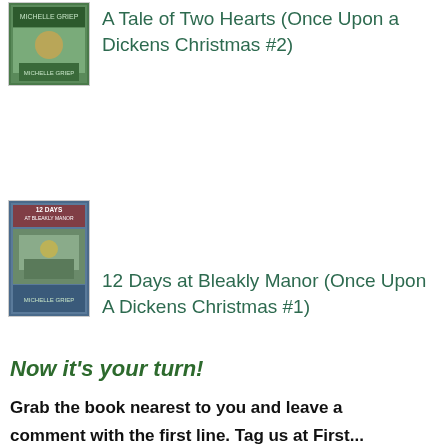[Figure (illustration): Book cover for 'A Tale of Two Hearts (Once Upon a Dickens Christmas #2)' by Michelle Griep]
A Tale of Two Hearts (Once Upon a Dickens Christmas #2)
[Figure (illustration): Book cover for '12 Days at Bleakly Manor (Once Upon A Dickens Christmas #1)' by Michelle Griep]
12 Days at Bleakly Manor (Once Upon A Dickens Christmas #1)
Now it’s your turn!
Grab the book nearest to you and leave a comment with the first line. Tag us at First...